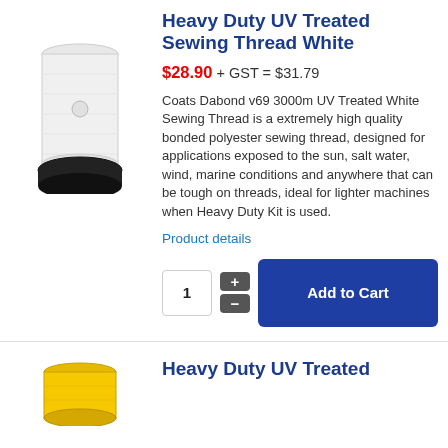[Figure (photo): White sewing thread spool on black base, product photo with SRA watermark]
Heavy Duty UV Treated Sewing Thread White
$28.90 + GST = $31.79
Coats Dabond v69 3000m UV Treated White Sewing Thread is a extremely high quality bonded polyester sewing thread, designed for applications exposed to the sun, salt water, wind, marine conditions and anywhere that can be tough on threads, ideal for lighter machines when Heavy Duty Kit is used.
Product details
[Figure (photo): Yellow sewing thread spool, product photo]
Heavy Duty UV Treated